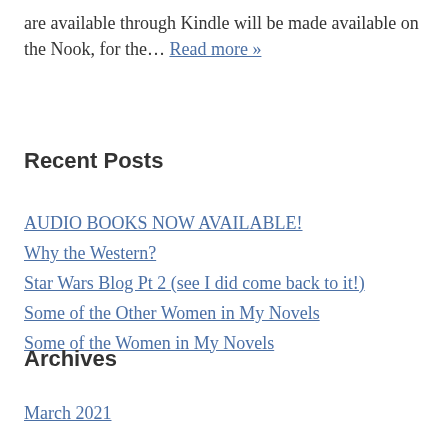are available through Kindle will be made available on the Nook, for the... Read more »
Recent Posts
AUDIO BOOKS NOW AVAILABLE!
Why the Western?
Star Wars Blog Pt 2 (see I did come back to it!)
Some of the Other Women in My Novels
Some of the Women in My Novels
Archives
March 2021